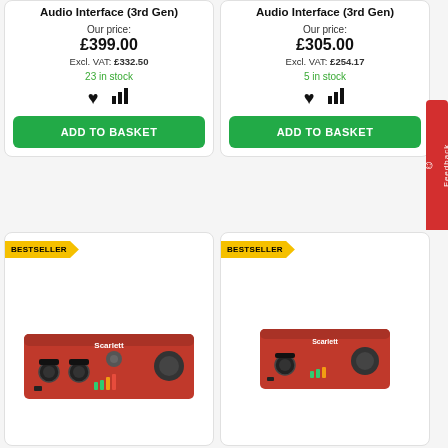Audio Interface (3rd Gen)
Our price:
£399.00
Excl. VAT: £332.50
23 in stock
ADD TO BASKET
Audio Interface (3rd Gen)
Our price:
£305.00
Excl. VAT: £254.17
5 in stock
ADD TO BASKET
[Figure (photo): Red Focusrite Scarlett audio interface (3rd Gen), wider model with multiple inputs]
[Figure (photo): Red Focusrite Scarlett audio interface (3rd Gen), compact 2-input model]